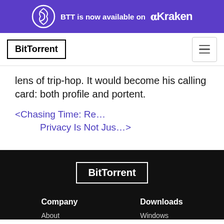BTT is now available on Kraken
[Figure (logo): BitTorrent logo in navbar with hamburger menu button]
lens of trip-hop. It would become his calling card: both profile and portent.
< Chasing Time: Re…
Privacy Is Not Jus… >
BitTorrent footer with Company (About) and Downloads (Windows) columns